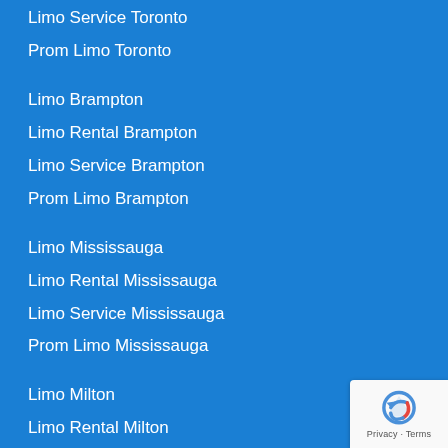Limo Service Toronto
Prom Limo Toronto
Limo Brampton
Limo Rental Brampton
Limo Service Brampton
Prom Limo Brampton
Limo Mississauga
Limo Rental Mississauga
Limo Service Mississauga
Prom Limo Mississauga
Limo Milton
Limo Rental Milton
Limo Service Milton
Prom Limo Milton
[Figure (logo): reCAPTCHA badge with Privacy and Terms links]